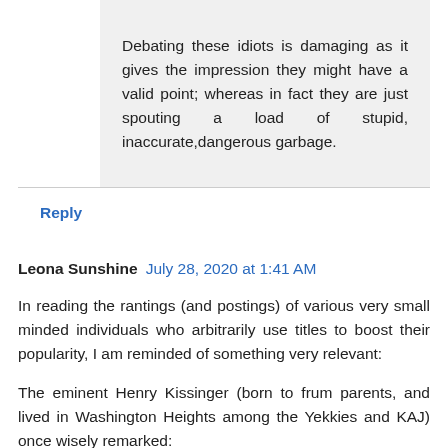Debating these idiots is damaging as it gives the impression they might have a valid point; whereas in fact they are just spouting a load of stupid, inaccurate,dangerous garbage.
Reply
Leona Sunshine  July 28, 2020 at 1:41 AM
In reading the rantings (and postings) of various very small minded individuals who arbitrarily use titles to boost their popularity, I am reminded of something very relevant:
The eminent Henry Kissinger (born to frum parents, and lived in Washington Heights among the Yekkies and KAJ) once wisely remarked:
"Academic politics are so vicious because the stakes are so small."
Reply